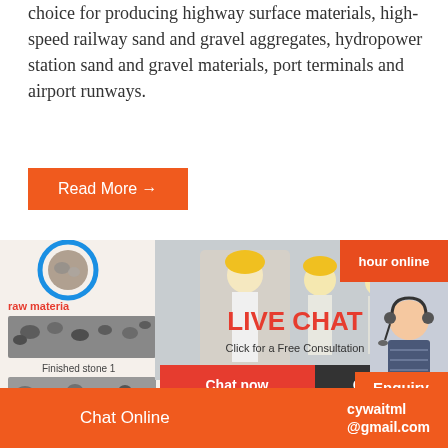choice for producing highway surface materials, high-speed railway sand and gravel aggregates, hydropower station sand and gravel materials, port terminals and airport runways.
Read More →
[Figure (screenshot): Live chat popup overlay with workers in hard hats, stone aggregate images (raw material, Finished stone 1, Finished stone 2, Finished stone 3), vibrating screen machine image, chat now/chat later buttons, hour online and customer service agent image, Click to chat button, Enquiry button]
Chat Online   cywaitml @gmail.com